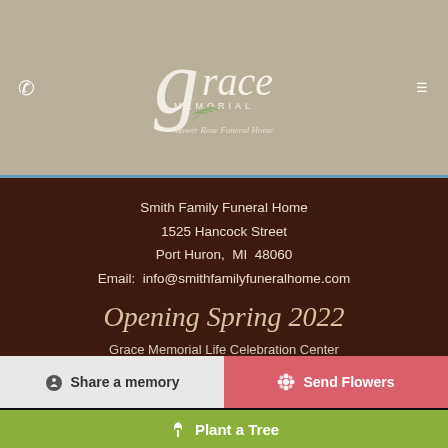[Figure (logo): Grace Memorial Bower Rose Funeral Home logo with stylized G, leaf decoration, and subtitle]
Smith Family Funeral Home
1525 Hancock Street
Port Huron,  MI  48060
Email:  info@smithfamilyfuneralhome.com
Opening Spring 2022
Grace Memorial Life Celebration Center
4521 Ravenswood Road
Kimball, MI 48079
Corner of Range and Ravenswood
💬 Share a memory
✿ Send Flowers
🌳 Plant a Tree